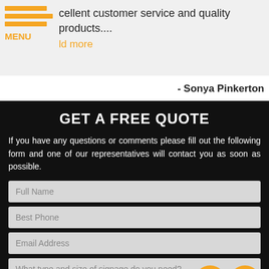cellent customer service and quality products....
ld more
- Sonya Pinkerton
GET A FREE QUOTE
If you have any questions or comments please fill out the following form and one of our representatives will contact you as soon as possible.
Full Name
Best Phone
Email Address
What type and size of signage do you need?